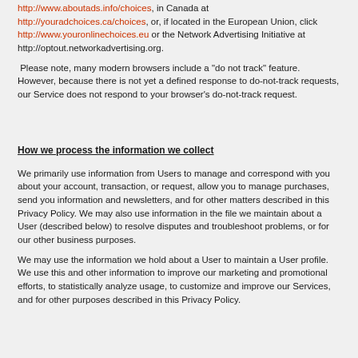http://www.aboutads.info/choices, in Canada at http://youradchoices.ca/choices, or, if located in the European Union, click http://www.youronlinechoices.eu or the Network Advertising Initiative at http://optout.networkadvertising.org.
Please note, many modern browsers include a "do not track" feature. However, because there is not yet a defined response to do-not-track requests, our Service does not respond to your browser's do-not-track request.
How we process the information we collect
We primarily use information from Users to manage and correspond with you about your account, transaction, or request, allow you to manage purchases, send you information and newsletters, and for other matters described in this Privacy Policy. We may also use information in the file we maintain about a User (described below) to resolve disputes and troubleshoot problems, or for our other business purposes.
We may use the information we hold about a User to maintain a User profile. We use this and other information to improve our marketing and promotional efforts, to statistically analyze usage, to customize and improve our Services, and for other purposes described in this Privacy Policy.
To whom the information may be disclosed